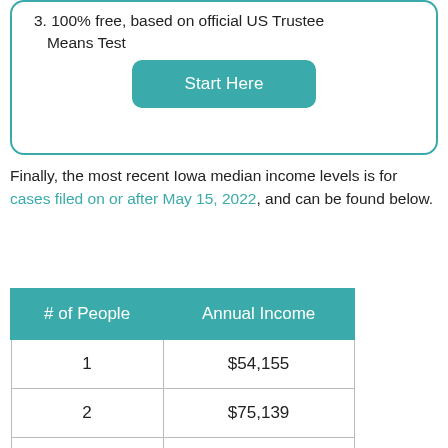3. 100% free, based on official US Trustee Means Test
Start Here
Finally, the most recent Iowa median income levels is for cases filed on or after May 15, 2022, and can be found below.
| # of People | Annual Income |
| --- | --- |
| 1 | $54,155 |
| 2 | $75,139 |
| 3 | $85,758 |